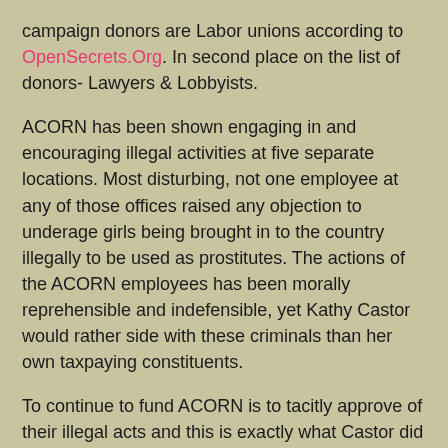campaign donors are Labor unions according to OpenSecrets.Org. In second place on the list of donors- Lawyers & Lobbyists.
ACORN has been shown engaging in and encouraging illegal activities at five separate locations. Most disturbing, not one employee at any of those offices raised any objection to underage girls being brought in to the country illegally to be used as prostitutes. The actions of the ACORN employees has been morally reprehensible and indefensible, yet Kathy Castor would rather side with these criminals than her own taxpaying constituents.
To continue to fund ACORN is to tacitly approve of their illegal acts and this is exactly what Castor did when she cast her "nay" vote. Thankfully, the vast majority of the House understood this and voted for the measure. Castor on the other hand, has shown herself to be cut of the same morally deficient cloth as the ACORN that she supports. Kathy Castor is unfit to serve the people in my district.
More at: